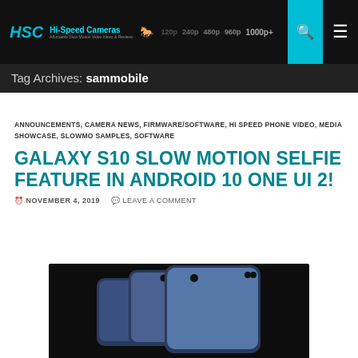HSC Hi-Speed Cameras — 120p 240p 480p 960p 1000p+
Tag Archives: sammobile
ANNOUNCEMENTS, CAMERA NEWS, FIRMWARE/SOFTWARE, HI SPEED PHONE VIDEO, MEDIA SHOWCASE, SLOWMO SAMPLES, SOFTWARE
GALAXY S10 SLOW MOTION SELFIE FEATURE IN ANDROID 10 ONE UI 2!
NOVEMBER 4, 2019   LEAVE A COMMENT
[Figure (photo): Samsung Galaxy S10 phones shown from front against dark background]